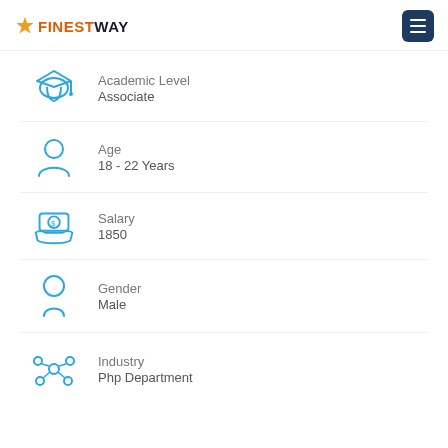FINESTWAY
Academic Level: Associate
Age: 18 - 22 Years
Salary: 1850
Gender: Male
Industry: Php Department